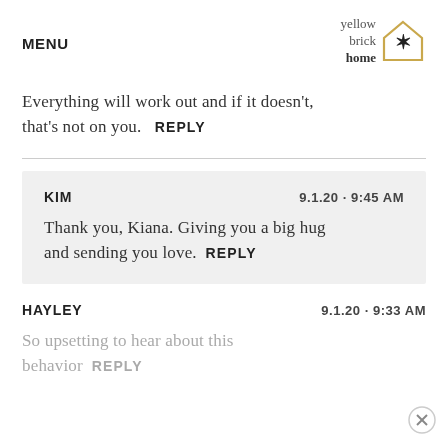MENU | yellow brick home logo
Everything will work out and if it doesn't, that's not on you.   REPLY
KIM   9.1.20 · 9:45 AM
Thank you, Kiana. Giving you a big hug and sending you love.   REPLY
HAYLEY   9.1.20 · 9:33 AM
So upsetting to hear about this behavior   REPLY